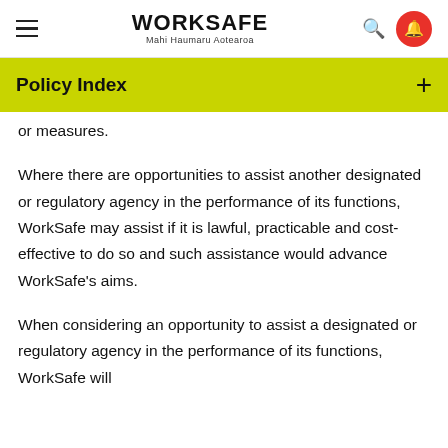WORKSAFE Mahi Haumaru Aotearoa
Policy Index
or measures.
Where there are opportunities to assist another designated or regulatory agency in the performance of its functions, WorkSafe may assist if it is lawful, practicable and cost-effective to do so and such assistance would advance WorkSafe's aims.
When considering an opportunity to assist a designated or regulatory agency in the performance of its functions, WorkSafe will